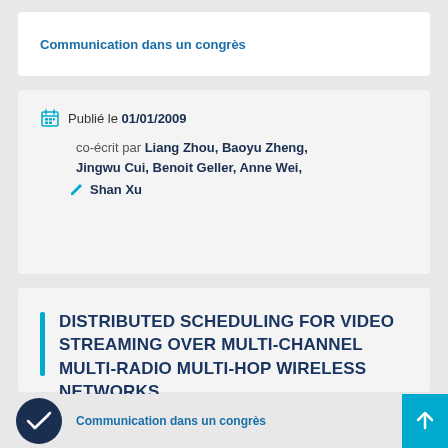Communication dans un congrès
Publié le 01/01/2009
co-écrit par Liang Zhou, Baoyu Zheng, Jingwu Cui, Benoit Geller, Anne Wei, Shan Xu
DISTRIBUTED SCHEDULING FOR VIDEO STREAMING OVER MULTI-CHANNEL MULTI-RADIO MULTI-HOP WIRELESS NETWORKS
Communication dans un congrès